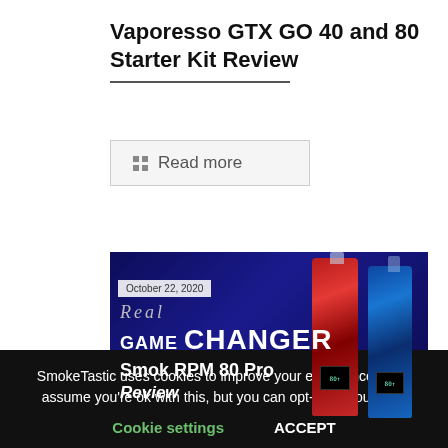Vaporesso GTX GO 40 and 80 Starter Kit Review
Read more
[Figure (photo): Promotional image for Smok RPM 80 Pro Review showing two vape devices (red and blue) against a dark blue background with text 'Real Game Changer Smok RPM 80 Pro Review' and date 'October 22, 2020']
SmokeTastic uses cookies to improve your experience. We'll assume you're ok with this, but you can opt-out if you wish.
Cookie settings
ACCEPT